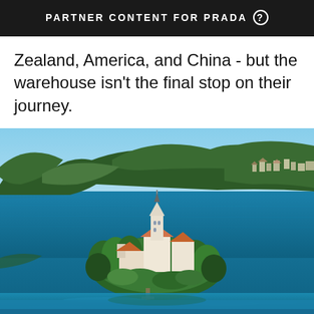PARTNER CONTENT FOR PRADA
Zealand, America, and China - but the warehouse isn't the final stop on their journey.
[Figure (photo): Aerial photograph of Lake Bled in Slovenia, showing a small island with a white church featuring an orange/red roof and a tall steeple, surrounded by turquoise-blue lake water, with dense green forested hills and mountains in the background, and a small town visible in the upper right.]